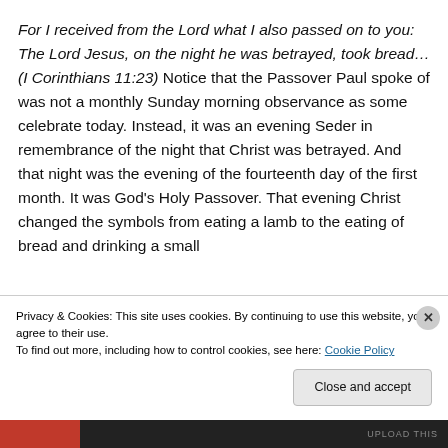For I received from the Lord what I also passed on to you: The Lord Jesus, on the night he was betrayed, took bread… (I Corinthians 11:23) Notice that the Passover Paul spoke of was not a monthly Sunday morning observance as some celebrate today. Instead, it was an evening Seder in remembrance of the night that Christ was betrayed. And that night was the evening of the fourteenth day of the first month. It was God's Holy Passover. That evening Christ changed the symbols from eating a lamb to the eating of bread and drinking a small
Privacy & Cookies: This site uses cookies. By continuing to use this website, you agree to their use.
To find out more, including how to control cookies, see here: Cookie Policy
Close and accept